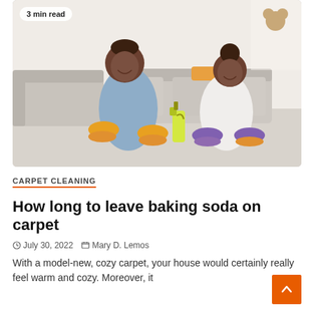[Figure (photo): Two women cleaning a carpet floor at home, both wearing rubber gloves and smiling. The woman on the left wears orange gloves and a denim shirt; the woman on the right wears purple gloves and a white shirt. A yellow spray bottle sits between them. A white sofa and bright room are in the background.]
3 min read
CARPET CLEANING
How long to leave baking soda on carpet
July 30, 2022   Mary D. Lemos
With a model-new, cozy carpet, your house would certainly really feel warm and cozy. Moreover, it